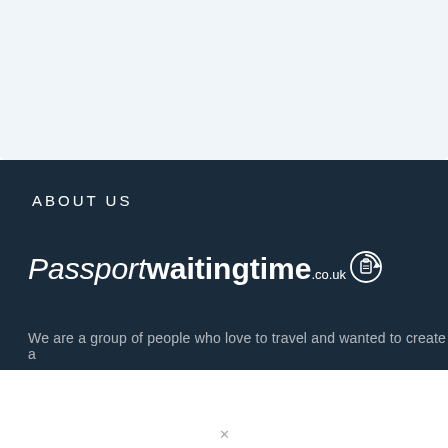[Figure (screenshot): Light blue-grey banner section at top of page]
ABOUT US
[Figure (logo): Passportwaitingtime.co.uk logo with passport icon in circular refresh symbol, white text on dark navy background. Italic 'Passport' followed by bold 'waitingtime' and '.co.uk' in smaller text.]
We are a group of people who love to travel and wanted to create a